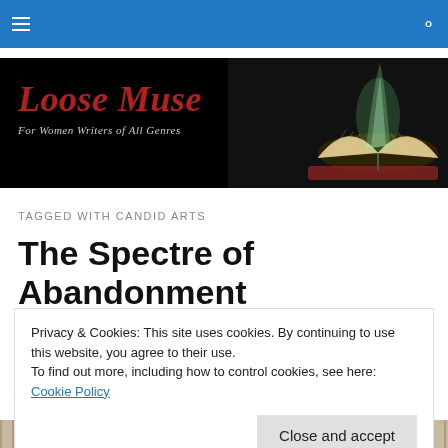Loose Muse – For Women Writers of All Genres
[Figure (screenshot): Loose Muse website banner with site title in red italic serif font on black background, with an open book with glowing green light on right side]
TAGGED WITH CANDID ARTS
The Spectre of Abandonment
Privacy & Cookies: This site uses cookies. By continuing to use this website, you agree to their use.
To find out more, including how to control cookies, see here: Cookie Policy
Close and accept
[Figure (photo): Bottom partial image strip showing article photo]